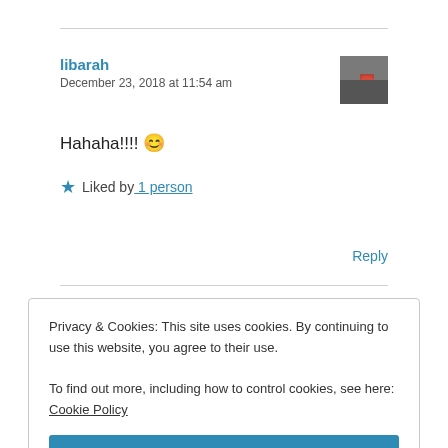libarah
December 23, 2018 at 11:54 am
Hahaha!!!! 😊
★ Liked by 1 person
Reply
Privacy & Cookies: This site uses cookies. By continuing to use this website, you agree to their use.
To find out more, including how to control cookies, see here: Cookie Policy
Close and accept